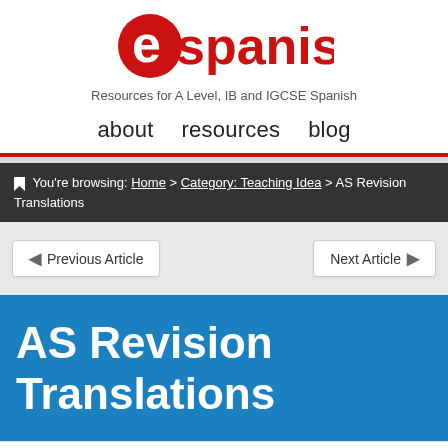[Figure (logo): eSpanish logo — red circle with white 'e' followed by 'spanish' in red text]
Resources for A Level, IB and IGCSE Spanish
about   resources   blog
You're browsing: Home > Category: Teaching Idea > AS Revision Translations
Previous Article
Next Article
AS Revision Translations
Glenn Smith  April 1, 2012. Posted in Teaching Idea and tagged AS,